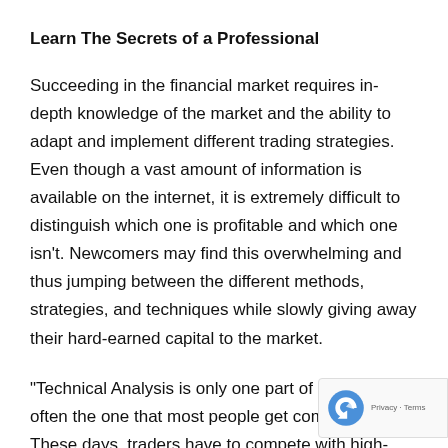Learn The Secrets of a Professional
Succeeding in the financial market requires in-depth knowledge of the market and the ability to adapt and implement different trading strategies. Even though a vast amount of information is available on the internet, it is extremely difficult to distinguish which one is profitable and which one isn't. Newcomers may find this overwhelming and thus jumping between the different methods, strategies, and techniques while slowly giving away their hard-earned capital to the market.
“Technical Analysis is only one part of the story, but often the one that most people get completely w… These days, traders have to compete with high-